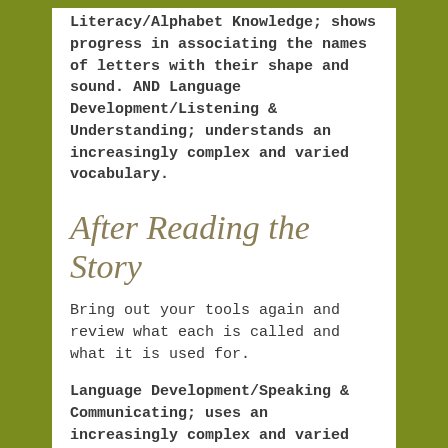Literacy/Alphabet Knowledge; shows progress in associating the names of letters with their shape and sound.  AND Language Development/Listening & Understanding; understands an increasingly complex and varied vocabulary.
After Reading the Story
Bring out your tools again and review what each is called and what it is used for.
Language Development/Speaking & Communicating; uses an increasingly complex and varied spoken language.
Discovery